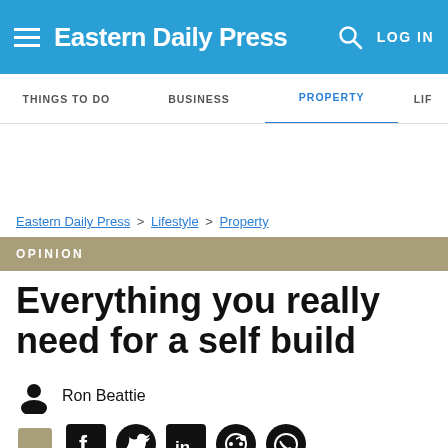Eastern Daily Press
THINGS TO DO | BUSINESS | PROPERTY | LIF
Eastern Daily Press > Lifestyle > Property
OPINION
Everything you really need for a self build
Ron Beattie